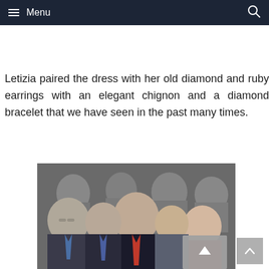Menu
Letizia paired the dress with her old diamond and ruby earrings with an elegant chignon and a diamond bracelet that we have seen in the past many times.
[Figure (photo): Group photo showing several people including a man in a dark suit with red tie in the center, a woman in red dress on the right, and several other formally dressed individuals in the background.]